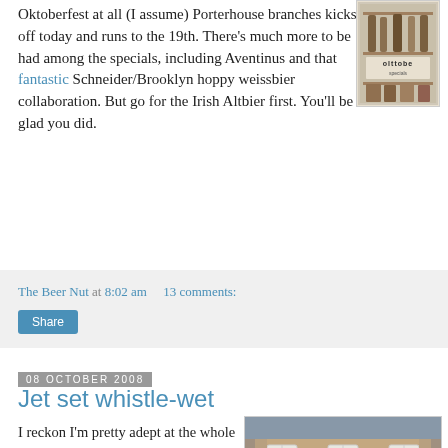Oktoberfest at all (I assume) Porterhouse branches kicks off today and runs to the 19th. There's much more to be had among the specials, including Aventinus and that fantastic Schneider/Brooklyn hoppy weissbier collaboration. But go for the Irish Altbier first. You'll be glad you did.
[Figure (photo): Sign or poster for Oktoberfest, showing 'oktobe' text partially visible, displayed in a shop window]
The Beer Nut at 8:02 am    13 comments:
Share
08 October 2008
Jet set whistle-wet
I reckon I'm pretty adept at the whole London-in-a-day thing, despite my protestations last time round. My old friend the Heathrow Express...
[Figure (photo): Exterior photo of a traditional London pub building with white bay windows, flower boxes, and a pub sign, brick facade]